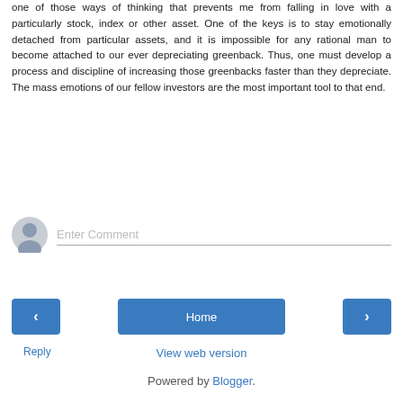one of those ways of thinking that prevents me from falling in love with a particularly stock, index or other asset. One of the keys is to stay emotionally detached from particular assets, and it is impossible for any rational man to become attached to our ever depreciating greenback. Thus, one must develop a process and discipline of increasing those greenbacks faster than they depreciate. The mass emotions of our fellow investors are the most important tool to that end.
Reply
[Figure (other): User avatar placeholder icon for comment entry area]
Enter Comment
‹
Home
›
View web version
Powered by Blogger.